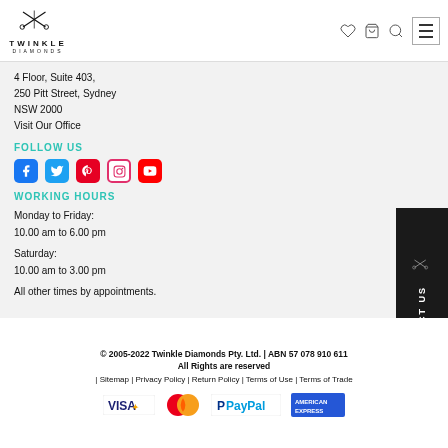Twinkle Diamonds - Logo and navigation header
4 Floor, Suite 403,
250 Pitt Street, Sydney
NSW 2000
Visit Our Office
FOLLOW US
[Figure (illustration): Social media icons: Facebook, Twitter, Pinterest, Instagram, YouTube]
WORKING HOURS
Monday to Friday:
10.00 am to 6.00 pm
Saturday:
10.00 am to 3.00 pm
All other times by appointments.
© 2005-2022 Twinkle Diamonds Pty. Ltd. | ABN 57 078 910 611
All Rights are reserved
| Sitemap | Privacy Policy | Return Policy | Terms of Use | Terms of Trade
[Figure (logo): Payment logos: Visa, MasterCard, PayPal, American Express]